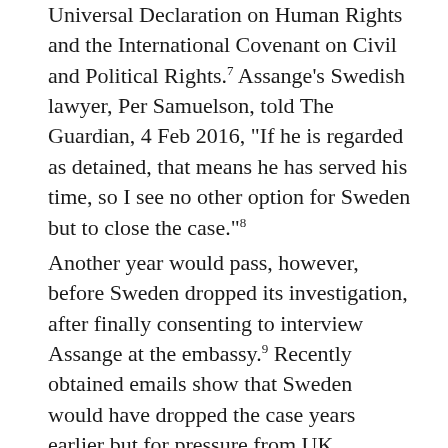Universal Declaration on Human Rights and the International Covenant on Civil and Political Rights.7 Assange's Swedish lawyer, Per Samuelson, told The Guardian, 4 Feb 2016, "If he is regarded as detained, that means he has served his time, so I see no other option for Sweden but to close the case."8
Another year would pass, however, before Sweden dropped its investigation, after finally consenting to interview Assange at the embassy.9 Recently obtained emails show that Sweden would have dropped the case years earlier but for pressure from UK authorities.10 In summary, Assange has been confined for six years over allegations that never resulted in charges, much less a criminal conviction.